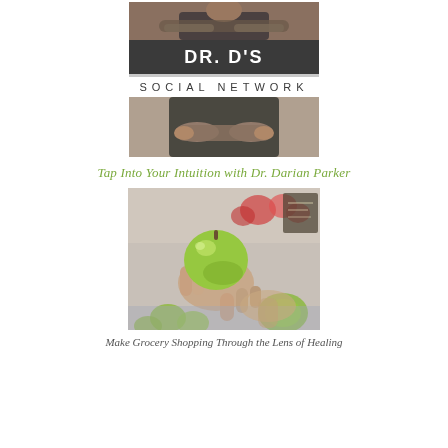[Figure (logo): Dr. D's Social Network logo with photo of man arms crossed, dark banner with DR. D'S text, SOCIAL NETWORK text, and bottom photo of same person]
Tap Into Your Intuition with Dr. Darian Parker
[Figure (photo): Hand holding a green apple in a grocery store with more green apples in background]
Make Grocery Shopping Through the Lens of Healing